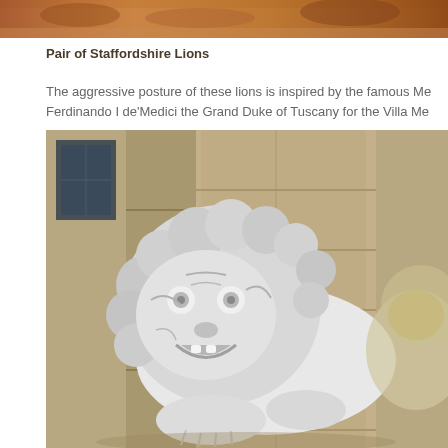[Figure (photo): Cropped top portion of a photo showing Staffordshire Lions, warm brownish-orange tones]
Pair of Staffordshire Lions
The aggressive posture of these lions is inspired by the famous Me Ferdinando I de'Medici the Grand Duke of Tuscany for the Villa Me
[Figure (photo): Close-up photograph of a white marble lion statue with detailed curly mane and open mouth, positioned in front of a stone building facade]